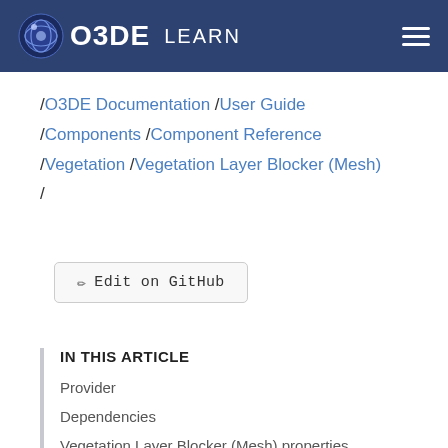O3DE LEARN
/O3DE Documentation /User Guide /Components /Component Reference /Vegetation /Vegetation Layer Blocker (Mesh) /
Edit on GitHub
IN THIS ARTICLE
Provider
Dependencies
Vegetation Layer Blocker (Mesh) properties